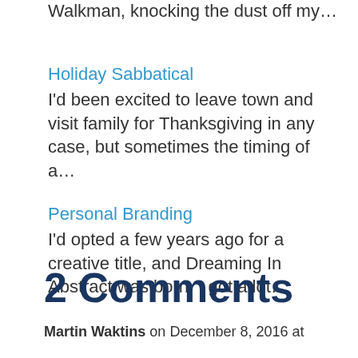Walkman, knocking the dust off my…
Holiday Sabbatical
I'd been excited to leave town and visit family for Thanksgiving in any case, but sometimes the timing of a…
Personal Branding
I'd opted a few years ago for a creative title, and Dreaming In Abstract was born. I got a lot…
2 Comments
Martin Waktins on December 8, 2016 at